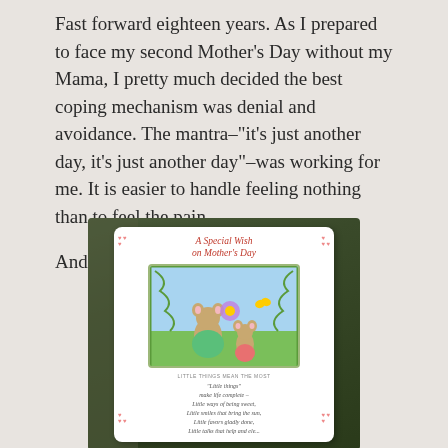Fast forward eighteen years. As I prepared to face my second Mother's Day without my Mama, I pretty much decided the best coping mechanism was denial and avoidance. The mantra–"it's just another day, it's just another day"–was working for me. It is easier to handle feeling nothing than to feel the pain.

And then this happened.
[Figure (photo): A photograph of a Hallmark-style Mother's Day greeting card titled 'A Special Wish on Mother's Day' with an illustrated scene of two mice (mother and child) holding a flower, surrounded by a decorative floral border. Below the illustration is a poem titled 'LITTLE THINGS MEAN THE MOST' with the text 'Little things make life complete – Little ways of being sweet, Little smiles that bring the sun, Little favors gladly done, Little talks that help and...' The card is photographed against a dark olive/green background.]